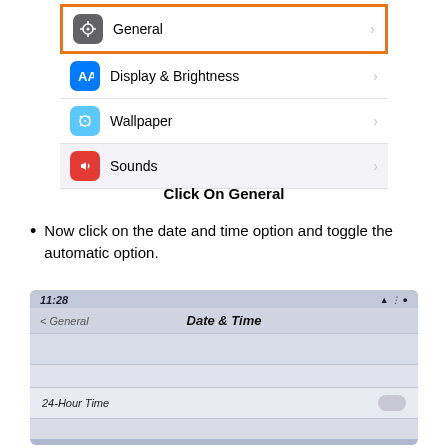[Figure (screenshot): iOS Settings app screenshot showing menu items: General (highlighted with orange border), Display & Brightness, Wallpaper, Sounds — each with an icon and chevron]
Click On General
Now click on the date and time option and toggle the automatic option.
[Figure (screenshot): Blurry photo of iPhone screen showing Date & Time settings page with '< General' back button, time 11:28, and '24-Hour Time' row with a toggle switch]